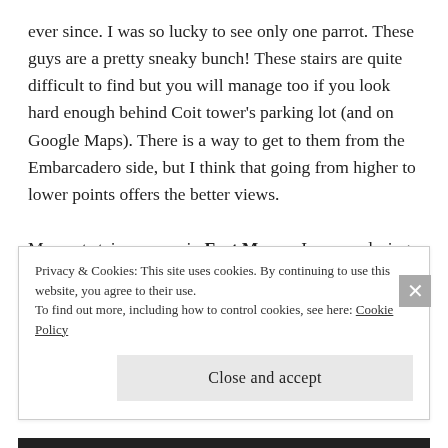ever since. I was so lucky to see only one parrot. These guys are a pretty sneaky bunch! These stairs are quite difficult to find but you will manage too if you look hard enough behind Coit tower's parking lot (and on Google Maps). There is a way to get to them from the Embarcadero side, but I think that going from higher to lower points offers the better views.

My next stairway was in Fort Mason. I was exploring the area and then saw a woman and a child coming down a stairway along the hill. I got really curious and climbed it. It took me to the top of a hill and
Privacy & Cookies: This site uses cookies. By continuing to use this website, you agree to their use.
To find out more, including how to control cookies, see here: Cookie Policy
Close and accept